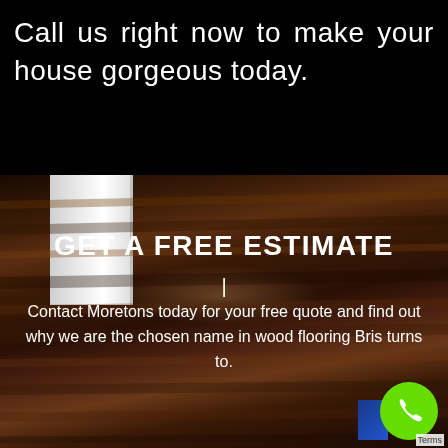Call us right now to make your house gorgeous today.
[Figure (photo): Wood flooring with white door frame on the left, warm brown hardwood planks with light reflection]
GET A FREE ESTIMATE
| Contact Moretons today for your free quote and find out why we are the chosen name in wood flooring Brisbane turns to.